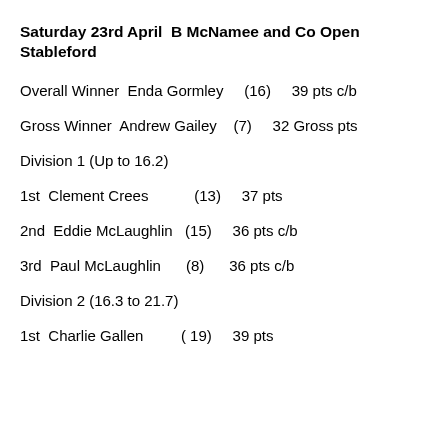Saturday 23rd April  B McNamee and Co Open Stableford
Overall Winner  Enda Gormley    (16)     39 pts c/b
Gross Winner  Andrew Gailey    (7)     32 Gross pts
Division 1 (Up to 16.2)
1st  Clement Crees          (13)     37 pts
2nd  Eddie McLaughlin   (15)     36 pts c/b
3rd  Paul McLaughlin       (8)      36 pts c/b
Division 2 (16.3 to 21.7)
1st  Charlie Gallen          ( 19)     39 pts